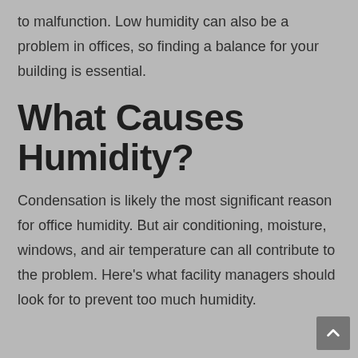to malfunction. Low humidity can also be a problem in offices, so finding a balance for your building is essential.
What Causes Humidity?
Condensation is likely the most significant reason for office humidity. But air conditioning, moisture, windows, and air temperature can all contribute to the problem. Here’s what facility managers should look for to prevent too much humidity.